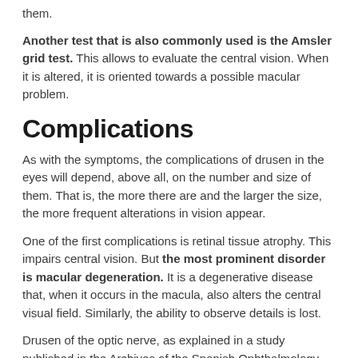them.
Another test that is also commonly used is the Amsler grid test. This allows to evaluate the central vision. When it is altered, it is oriented towards a possible macular problem.
Complications
As with the symptoms, the complications of drusen in the eyes will depend, above all, on the number and size of them. That is, the more there are and the larger the size, the more frequent alterations in vision appear.
One of the first complications is retinal tissue atrophy. This impairs central vision. But the most prominent disorder is macular degeneration. It is a degenerative disease that, when it occurs in the macula, also alters the central visual field. Similarly, the ability to observe details is lost.
Drusen of the optic nerve, as explained in a study published in the Archives of the Spanish Ophthalmology Society, can lead to severe visual field defects.